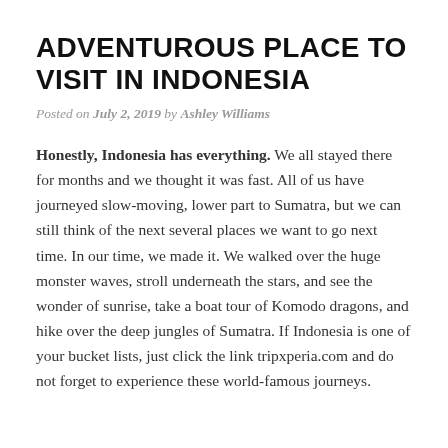ADVENTUROUS PLACE TO VISIT IN INDONESIA
Posted on July 2, 2019 by Ashley Williams
Honestly, Indonesia has everything. We all stayed there for months and we thought it was fast. All of us have journeyed slow-moving, lower part to Sumatra, but we can still think of the next several places we want to go next time. In our time, we made it. We walked over the huge monster waves, stroll underneath the stars, and see the wonder of sunrise, take a boat tour of Komodo dragons, and hike over the deep jungles of Sumatra. If Indonesia is one of your bucket lists, just click the link tripxperia.com and do not forget to experience these world-famous journeys.